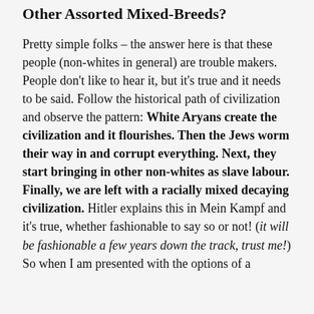Other Assorted Mixed-Breeds?
Pretty simple folks – the answer here is that these people (non-whites in general) are trouble makers. People don't like to hear it, but it's true and it needs to be said. Follow the historical path of civilization and observe the pattern: White Aryans create the civilization and it flourishes. Then the Jews worm their way in and corrupt everything. Next, they start bringing in other non-whites as slave labour. Finally, we are left with a racially mixed decaying civilization. Hitler explains this in Mein Kampf and it's true, whether fashionable to say so or not! (it will be fashionable a few years down the track, trust me!) So when I am presented with the options of a